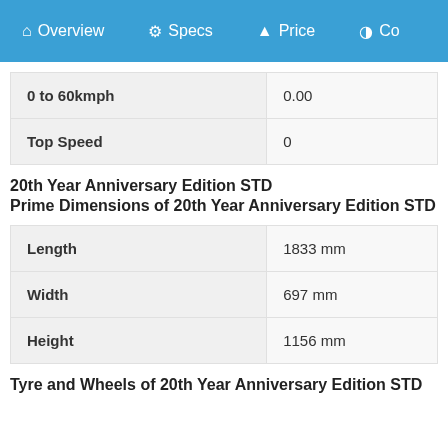Overview  Specs  Price  Co
| Spec | Value |
| --- | --- |
| 0 to 60kmph | 0.00 |
| Top Speed | 0 |
20th Year Anniversary Edition STD
Prime Dimensions of 20th Year Anniversary Edition STD
| Dimension | Value |
| --- | --- |
| Length | 1833 mm |
| Width | 697 mm |
| Height | 1156 mm |
Tyre and Wheels of 20th Year Anniversary Edition STD